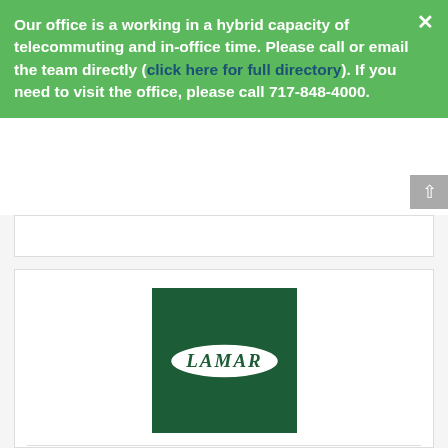Our office is a working in a hybrid capacity of telecommuting and in-office time. Please call or email the team directly (click here for full directory). If you need to visit the office, please call 717-848-4000.
[Figure (logo): Lamar Advertising logo — white oval with italic LAMAR text on dark green square background]
Lamar Advertising